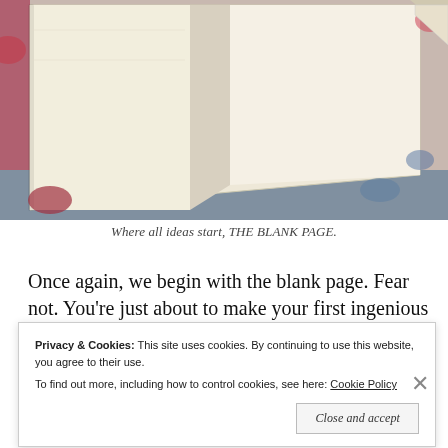[Figure (photo): A photo of an open book showing a blank cream-colored page, lying on a colorful floral-patterned fabric background.]
Where all ideas start, THE BLANK PAGE.
Once again, we begin with the blank page. Fear not. You're just about to make your first ingenious move. Find a black writing
Privacy & Cookies: This site uses cookies. By continuing to use this website, you agree to their use.
To find out more, including how to control cookies, see here: Cookie Policy